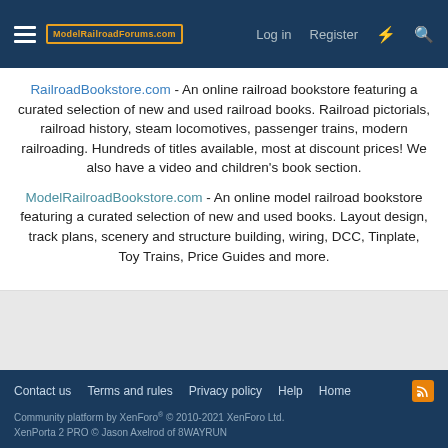ModelRailroadForums.com — Log in  Register
RailroadBookstore.com - An online railroad bookstore featuring a curated selection of new and used railroad books. Railroad pictorials, railroad history, steam locomotives, passenger trains, modern railroading. Hundreds of titles available, most at discount prices! We also have a video and children's book section.
ModelRailroadBookstore.com - An online model railroad bookstore featuring a curated selection of new and used books. Layout design, track plans, scenery and structure building, wiring, DCC, Tinplate, Toy Trains, Price Guides and more.
Hancap232g
Contact us  Terms and rules  Privacy policy  Help  Home  Community platform by XenForo® © 2010-2021 XenForo Ltd. XenPorta 2 PRO © Jason Axelrod of 8WAYRUN